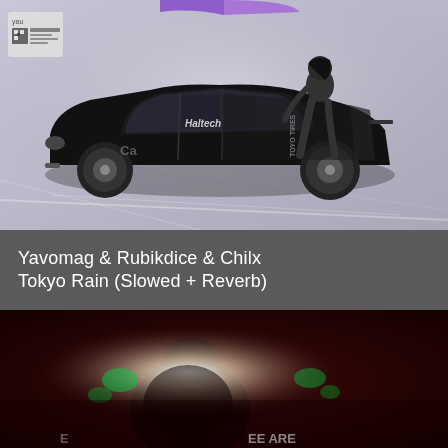[Figure (photo): Black modified drift car (JDM style) with Haltech and Toyo Tires branding, a woman sitting in the open door, against a light gray/lavender background with plastic wrap packaging effect. Small QR code visible in top left.]
Yavomag & Rubikdice & Chilx
Tokyo Rain (Slowed + Reverb)
[Figure (photo): Dark red/maroon toned photo of a person with dramatic lighting, bright white light in the center, green accent lights. Partial text visible at bottom reading '...EE ARE'.]